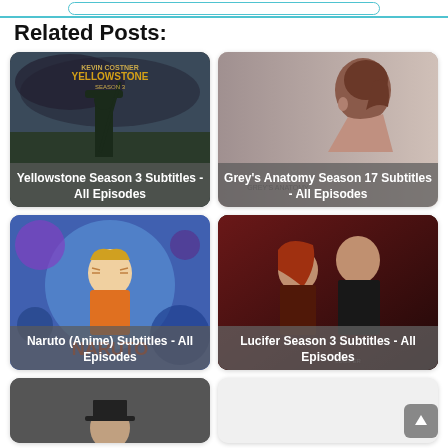Related Posts:
[Figure (photo): Yellowstone Season 3 TV show poster with man in hat holding a rifle against stormy sky]
Yellowstone Season 3 Subtitles - All Episodes
[Figure (photo): Grey's Anatomy Season 17 - woman with hair up in side profile]
Grey's Anatomy Season 17 Subtitles - All Episodes
[Figure (photo): Naruto anime colorful poster with Naruto character in orange jumpsuit]
Naruto (Anime) Subtitles - All Episodes
[Figure (photo): Lucifer Season 3 - man and woman close together, dramatic lighting]
Lucifer Season 3 Subtitles - All Episodes
[Figure (photo): Partially visible card with man in top hat]
[Figure (photo): Partially visible card, mostly white/empty]